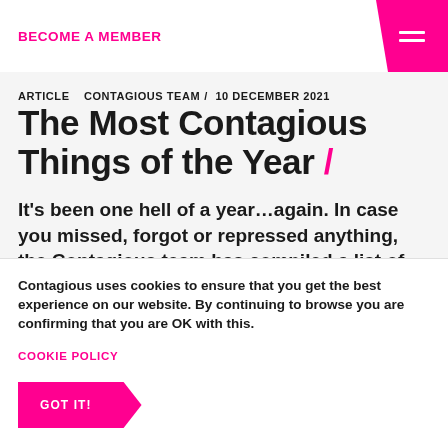BECOME A MEMBER
ARTICLE   CONTAGIOUS TEAM / 10 DECEMBER 2021
The Most Contagious Things of the Year /
It's been one hell of a year...again. In case you missed, forgot or repressed anything, the Contagious team has compiled a list of the
Contagious uses cookies to ensure that you get the best experience on our website. By continuing to browse you are confirming that you are OK with this.
COOKIE POLICY
GOT IT!